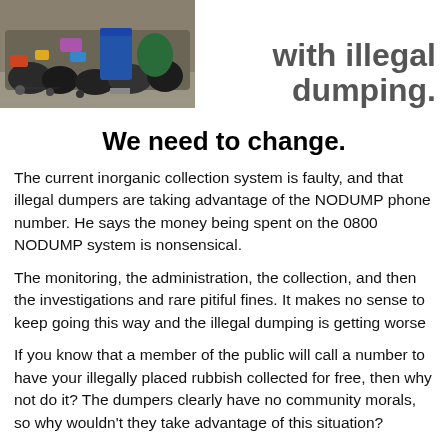[Figure (photo): Photograph of piles of illegally dumped rubbish and garbage bags on a street, with a blue bin visible.]
with illegal dumping.
We need to change.
The current inorganic collection system is faulty, and that illegal dumpers are taking advantage of the NODUMP phone number. He says the money being spent on the 0800 NODUMP system is nonsensical.
The monitoring, the administration, the collection, and then the investigations and rare pitiful fines. It makes no sense to keep going this way and the illegal dumping is getting worse
If you know that a member of the public will call a number to have your illegally placed rubbish collected for free, then why not do it? The dumpers clearly have no community morals, so why wouldn't they take advantage of this situation?